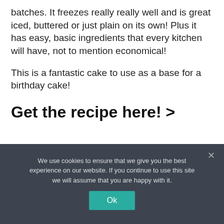batches. It freezes really really well and is great iced, buttered or just plain on its own! Plus it has easy, basic ingredients that every kitchen will have, not to mention economical!
This is a fantastic cake to use as a base for a birthday cake!
Get the recipe here! >
We use cookies to ensure that we give you the best experience on our website. If you continue to use this site we will assume that you are happy with it.
Ok